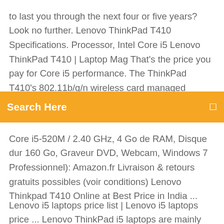to last you through the next four or five years? Look no further. Lenovo ThinkPad T410 Specifications. Processor, Intel Core i5 Lenovo ThinkPad T410 | Laptop Mag That's the price you pay for Core i5 performance. The ThinkPad T410's 802.11b/g/n wireless card managed reasonable transfer rates of 20.3 and 18.6 Mbps from distances of 15 and 50 feet from the Lenovo
Search Here
Core i5-520M / 2.40 GHz, 4 Go de RAM, Disque dur 160 Go, Graveur DVD, Webcam, Windows 7 Professionnel): Amazon.fr Livraison & retours gratuits possibles (voir conditions) Lenovo Thinkpad T410 Online at Best Price in India ...
Lenovo i5 laptops price list | Lenovo i5 laptops price ... Lenovo ThinkPad i5 laptops are mainly designed for corporates and IT departments. The ThinkPad laptops have strong built-quality, effective keyboard and pointing devices for long durability. These Lenovo i5 processor laptop price will right be within your